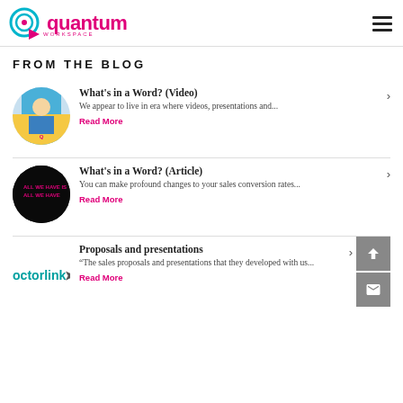[Figure (logo): Quantum logo with cyan circle/target icon and pink arrow, followed by 'quantum' text in pink]
FROM THE BLOG
[Figure (photo): Circular thumbnail of a person in a blue jacket]
What's in a Word? (Video)
We appear to live in era where videos, presentations and...
Read More
[Figure (photo): Circular thumbnail showing a dark image with pink neon text 'ALL WE HAVE IS ALL WE HAVE']
What's in a Word? (Article)
You can make profound changes to your sales conversion rates...
Read More
[Figure (logo): Octorlink logo in teal/cyan text]
Proposals and presentations
“The sales proposals and presentations that they developed with us...
Read More